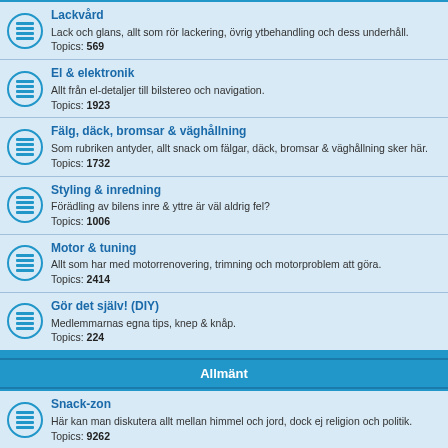Lackvård
Lack och glans, allt som rör lackering, övrig ytbehandling och dess underhåll.
Topics: 569
El & elektronik
Allt från el-detaljer till bilstereo och navigation.
Topics: 1923
Fälg, däck, bromsar & väghållning
Som rubriken antyder, allt snack om fälgar, däck, bromsar & väghållning sker här.
Topics: 1732
Styling & inredning
Förädling av bilens inre & yttre är väl aldrig fel?
Topics: 1006
Motor & tuning
Allt som har med motorrenovering, trimning och motorproblem att göra.
Topics: 2414
Gör det själv! (DIY)
Medlemmarnas egna tips, knep & knåp.
Topics: 224
Allmänt
Snack-zon
Här kan man diskutera allt mellan himmel och jord, dock ej religion och politik.
Topics: 9262
Filmer
Filmer som vi hittar på Youtube. Endast filmer som finns på Youtube är tillåtna. Länkningar är inte tillåtet, utan alla filmer måste bäddas in med "Film" knappen.
Topics: 187
Gammalt & nytt från Mercedesvärlden
Artiklar, nyheter och andra texter...